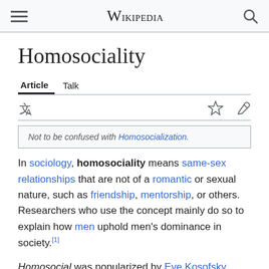Wikipedia
Homosociality
Article  Talk
Not to be confused with Homosocialization.
In sociology, homosociality means same-sex relationships that are not of a romantic or sexual nature, such as friendship, mentorship, or others. Researchers who use the concept mainly do so to explain how men uphold men's dominance in society.[1]
Homosocial was popularized by Eve Kosofsky Sedgwick in her discussion of male homosocial desire.[2] Sedgwick